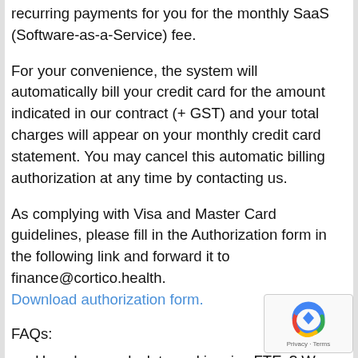recurring payments for you for the monthly SaaS (Software-as-a-Service) fee.
For your convenience, the system will automatically bill your credit card for the amount indicated in our contract (+ GST) and your total charges will appear on your monthly credit card statement. You may cancel this automatic billing authorization at any time by contacting us.
As complying with Visa and Master Card guidelines, please fill in the Authorization form in the following link and forward it to finance@cortico.health. Download authorization form.
FAQs:
How do we calculate and invoice FTEs? We only charge for doctors who are bookable